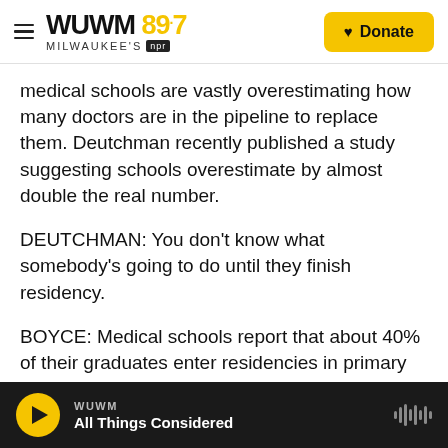WUWM 89.7 Milwaukee's NPR — Donate
medical schools are vastly overestimating how many doctors are in the pipeline to replace them. Deutchman recently published a study suggesting schools overestimate by almost double the real number.
DEUTCHMAN: You don't know what somebody's going to do until they finish residency.
BOYCE: Medical schools report that about 40% of their graduates enter residencies in primary care. But when Deutchman and his fellow researchers followed up with nearly 18,000 medical doctors
WUWM — All Things Considered